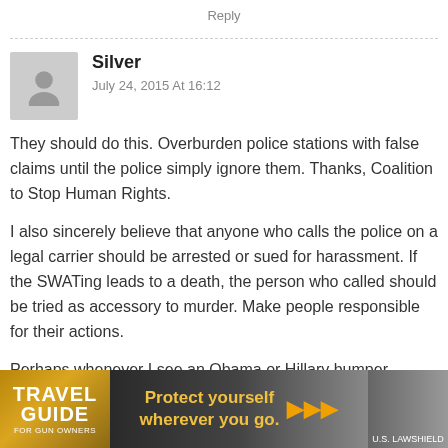Reply
Silver
July 24, 2015 At 16:12
They should do this. Overburden police stations with false claims until the police simply ignore them. Thanks, Coalition to Stop Human Rights.
I also sincerely believe that anyone who calls the police on a legal carrier should be arrested or sued for harassment. If the SWATing leads to a death, the person who called should be tried as accessory to murder. Make people responsible for their actions.
Perhaps whenever I see an Obama or Hillary bumper sticker, I'll call the police and report a [...]of their
[Figure (photo): Travel Guide for Gun Owners advertisement banner with text 'Protect yourself wherever you go.' and arrows, dark background with golden accents]